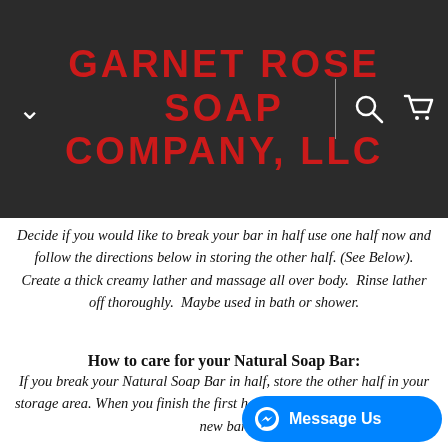GARNET ROSE SOAP COMPANY, LLC
Decide if you would like to break your bar in half use one half now and follow the directions below in storing the other half. (See Below). Create a thick creamy lather and massage all over body.  Rinse lather off thoroughly.  Maybe used in bath or shower.
How to care for your Natural Soap Bar:
If you break your Natural Soap Bar in half, store the other half in your storage area. When you finish the first half it's like bringing out a whole new bar.
After your shower or bath, place your natural bar on a well draining soap dish.  A great soap dish will allow air that there is not contact of pooled or standing water. For storage,